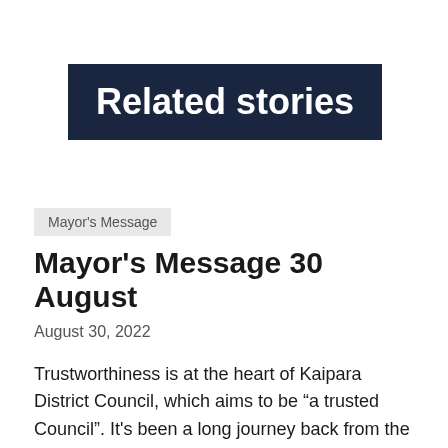Related stories
Mayor's Message
Mayor's Message 30 August
August 30, 2022
Trustworthiness is at the heart of Kaipara District Council, which aims to be “a trusted Council”.  It's been a long journey back from the edge of local democracy and the Kaipara Commission during which time there were appointed Commissioners rather than locally-elected Councillors and a Mayor.